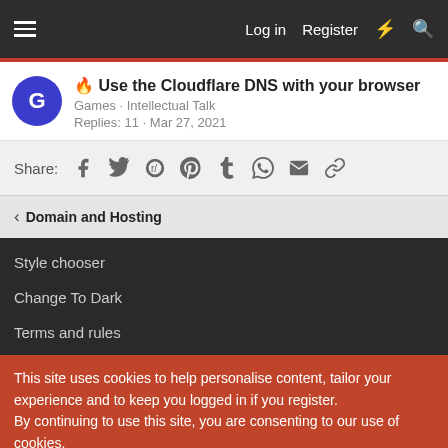Log in  Register
🔥 Use the Cloudflare DNS with your browser
Games · Intellectual Talk
Replies: 11 · Mar 27, 2021
Share:
< Domain and Hosting
Style chooser
Change To Dark
Terms and rules
This site uses cookies to help personalise content, tailor your experience and to keep you logged in if you register.
By continuing to use this site, you are consenting to our use of cookies.
Accept  Learn more...